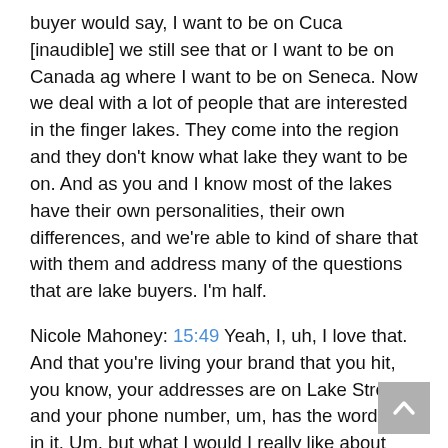buyer would say, I want to be on Cuca [inaudible] we still see that or I want to be on Canada ag where I want to be on Seneca. Now we deal with a lot of people that are interested in the finger lakes. They come into the region and they don't know what lake they want to be on. And as you and I know most of the lakes have their own personalities, their own differences, and we're able to kind of share that with them and address many of the questions that are lake buyers. I'm half.
Nicole Mahoney: 15:49 Yeah, I, uh, I love that. And that you're living your brand that you hit, you know, your addresses are on Lake Street and your phone number, um, has the word lake in it. Um, but what I would I really like about what you described is that you have identified your focus and your Uber focused on it. You know, you were, you've established your, um, as you mentioned your unique value proposition and you are just